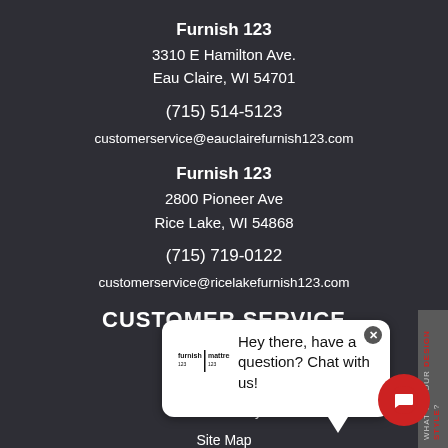Furnish 123
3310 E Hamilton Ave.
Eau Claire, WI 54701
(715) 514-5123
customerservice@eauclairefurnish123.com
Furnish 123
2800 Pioneer Ave
Rice Lake, WI 54868
(715) 719-0122
customerservice@ricelakefurnish123.com
CUSTOMER SERVICE
Privacy Policy
Terms of Service
Accessibility
Site Map
Do Not Sell My Personal Information
[Figure (screenshot): Chat popup overlay with Furnish 123 logo and text 'Hey there, have a question? Chat with us!' with a close button, and a red circular chat button below it.]